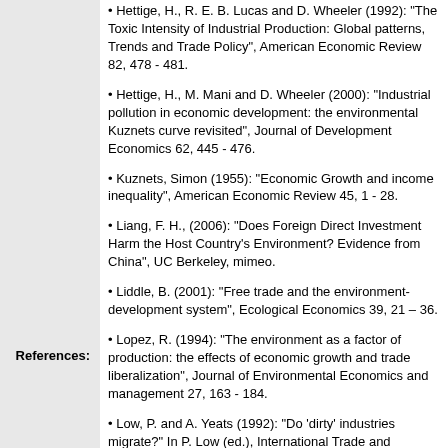Hettige, H., R. E. B. Lucas and D. Wheeler (1992): “The Toxic Intensity of Industrial Production: Global patterns, Trends and Trade Policy”, American Economic Review 82, 478 - 481.
Hettige, H., M. Mani and D. Wheeler (2000): “Industrial pollution in economic development: the environmental Kuznets curve revisited”, Journal of Development Economics 62, 445 - 476.
Kuznets, Simon (1955): “Economic Growth and income inequality”, American Economic Review 45, 1 - 28.
Liang, F. H., (2006): “Does Foreign Direct Investment Harm the Host Country’s Environment? Evidence from China”, UC Berkeley, mimeo.
References:
Liddle, B. (2001): “Free trade and the environment-development system”, Ecological Economics 39, 21 – 36.
Lopez, R. (1994): “The environment as a factor of production: the effects of economic growth and trade liberalization”, Journal of Environmental Economics and management 27, 163 - 184.
Low, P. and A. Yeats (1992): “Do ‘dirty’ industries migrate?” In P. Low (ed.), International Trade and environment., World Bank., Washington, D.C.